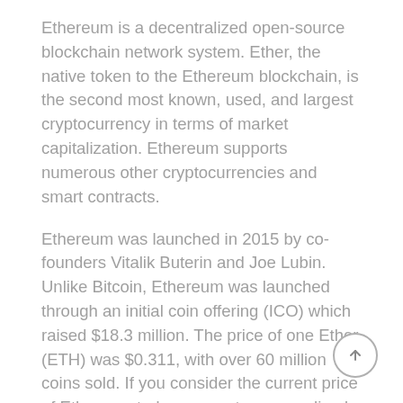Ethereum is a decentralized open-source blockchain network system. Ether, the native token to the Ethereum blockchain, is the second most known, used, and largest cryptocurrency in terms of market capitalization. Ethereum supports numerous other cryptocurrencies and smart contracts.
Ethereum was launched in 2015 by co-founders Vitalik Buterin and Joe Lubin.  Unlike Bitcoin, Ethereum was launched through an initial coin offering (ICO) which raised $18.3 million. The price of one Ether (ETH) was $0.311, with over 60 million coins sold. If you consider the current price of Ethereum today, you get an annualized return on investment of over 270%. This means that, on average, Ethereum's price has been more than quadrupled since 2014.  Currently, one ether is selling at $2,802.20 with a trading volume of $15.9